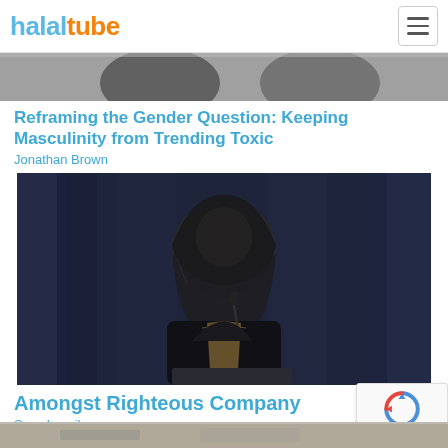halaltube
[Figure (screenshot): Cropped top portion of a video thumbnail showing people]
Reframing the Gender Question: Keeping Masculinity from Trending Toxic
Jonathan Brown
[Figure (photo): A woman wearing a black hijab and dark clothing stands at a podium holding a microphone, speaking in front of dark blue curtains]
Amongst Righteous Company
Suzy Ismail
[Figure (screenshot): Bottom portion of another video thumbnail, partially visible]